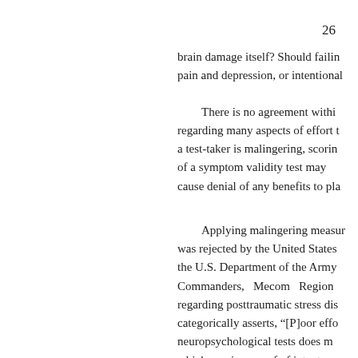26
brain damage itself? Should failing scores be considered a symptom of pain and depression, or intentional
There is no agreement within regarding many aspects of effort testing. If a test-taker is malingering, scoring below chance on of a symptom validity test may cause denial of any benefits to pla
Applying malingering measur was rejected by the United States the U.S. Department of the Army Commanders, Mecom Region regarding posttraumatic stress dis categorically asserts, “[P]oor effo neuropsychological tests does n which requires proof of intent per H 976.1”µ54